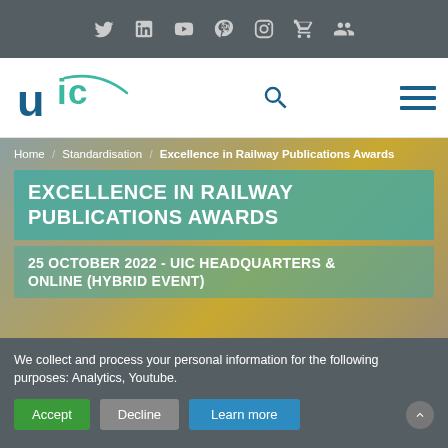Social media navigation bar with icons: Twitter, LinkedIn, YouTube, Pinterest, Instagram, Cart, Account
[Figure (logo): UIC logo in teal and dark blue, with search icon and hamburger menu icon]
Home / Standardisation / Excellence in Railway Publications Awards
EXCELLENCE IN RAILWAY PUBLICATIONS AWARDS
25 OCTOBER 2022 - UIC HEADQUARTERS & ONLINE (HYBRID EVENT)
We collect and process your personal information for the following purposes: Analytics, Youtube.